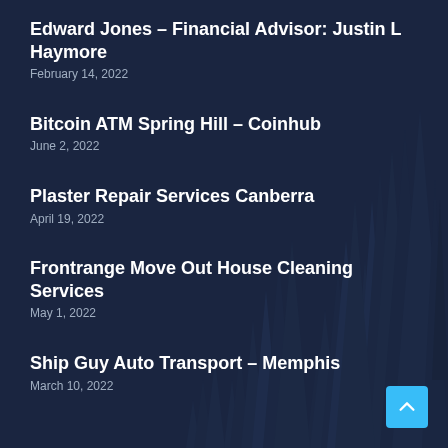Edward Jones – Financial Advisor: Justin L Haymore
February 14, 2022
Bitcoin ATM Spring Hill – Coinhub
June 2, 2022
Plaster Repair Services Canberra
April 19, 2022
Frontrange Move Out House Cleaning Services
May 1, 2022
Ship Guy Auto Transport – Memphis
March 10, 2022